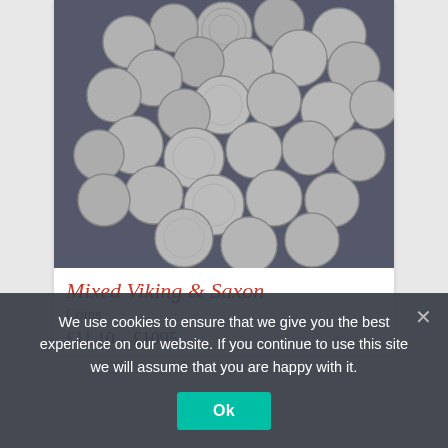[Figure (photo): A large pile of ancient silver Viking and Saxon coins scattered on a dark grey background, viewed from above.]
Mixed Viking & Saxon
Coins
£11.10 – £1095
We use cookies to ensure that we give you the best experience on our website. If you continue to use this site we will assume that you are happy with it.